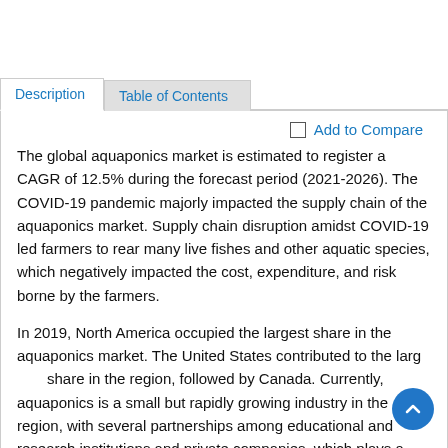Description | Table of Contents
Add to Compare
The global aquaponics market is estimated to register a CAGR of 12.5% during the forecast period (2021-2026). The COVID-19 pandemic majorly impacted the supply chain of the aquaponics market. Supply chain disruption amidst COVID-19 led farmers to rear many live fishes and other aquatic species, which negatively impacted the cost, expenditure, and risk borne by the farmers.
In 2019, North America occupied the largest share in the aquaponics market. The United States contributed to the largest share in the region, followed by Canada. Currently, aquaponics is a small but rapidly growing industry in the region, with several partnerships among educational and research institutions and private companies, which plays a pivotal role in the